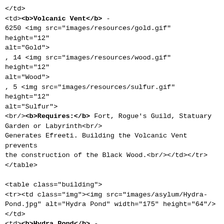</td>
<td><b>Volcanic Vent</b> -
6250 <img src="images/resources/gold.gif" height="12" alt="Gold">
, 14 <img src="images/resources/wood.gif" height="12" alt="Wood">
, 5 <img src="images/resources/sulfur.gif" height="12" alt="Sulfur">
<br/><b>Requires:</b> Fort, Rogue's Guild, Statuary Garden or Labyrinth<br/>
Generates Efreeti. Building the Volcanic Vent prevents the construction of the Black Wood.<br/></td></tr>
</table>

<table class="building">
<tr><td class="img"><img src="images/asylum/Hydra-Pond.jpg" alt="Hydra Pond" width="175" height="64"/>
</td>
<td><b>Hydra Pond</b> -
14000 <img src="images/resources/gold.gif" height="12" alt="Gold">
, 16 <img src="images/resources/wood.gif" height="12" alt="Wood">
, 4 <img src="images/resources/crystal.gif" height="12" alt="Crystal">
, 20 <img src="images/resources/mercury.gif" height="12" alt="Mercury">
, 6 <img src="images/resources/sulfur.gif" height="12" alt="Sulfur">
<br/><b>Requires:</b> Fort, Witch Hall, Black Wood or Volcanic Vent<br/>